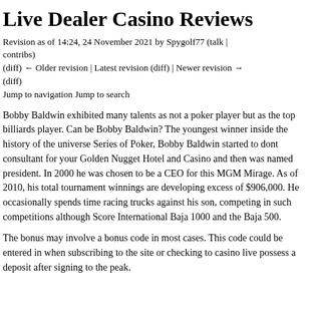Live Dealer Casino Reviews
Revision as of 14:24, 24 November 2021 by Spygolf77 (talk | contribs)
(diff) ← Older revision | Latest revision (diff) | Newer revision → (diff)
Jump to navigation Jump to search
Bobby Baldwin exhibited many talents as not a poker player but as the top billiards player. Can be Bobby Baldwin? The youngest winner inside the history of the universe Series of Poker, Bobby Baldwin started to dont consultant for your Golden Nugget Hotel and Casino and then was named president. In 2000 he was chosen to be a CEO for this MGM Mirage. As of 2010, his total tournament winnings are developing excess of $906,000. He occasionally spends time racing trucks against his son, competing in such competitions although Score International Baja 1000 and the Baja 500.
The bonus may involve a bonus code in most cases. This code could be entered in when subscribing to the site or checking to casino live possess a deposit after signing to the peak.